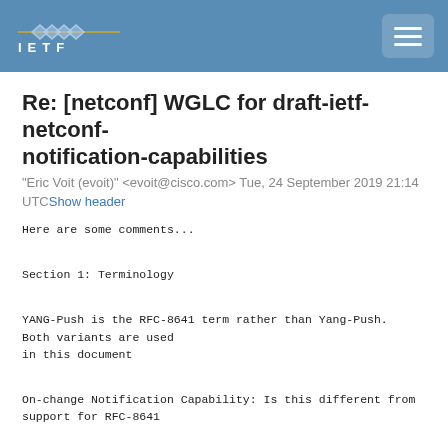IETF
Re: [netconf] WGLC for draft-ietf-netconf-notification-capabilities
"Eric Voit (evoit)" <evoit@cisco.com> Tue, 24 September 2019 21:14 UTC Show header
Here are some comments...
Section 1: Terminology
YANG-Push is the RFC-8641 term rather than Yang-Push.
Both variants are used
in this document
On-change Notification Capability: Is this different from
support for RFC-8641